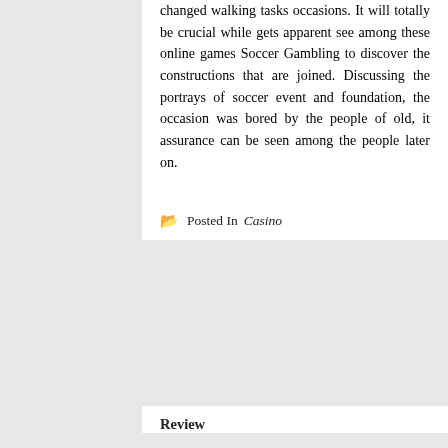changed walking tasks occasions. It will totally be crucial while gets apparent see among these online games Soccer Gambling to discover the constructions that are joined. Discussing the portrays of soccer event and foundation, the occasion was bored by the people of old, it assurance can be seen among the people later on.
Posted In Casino
Review